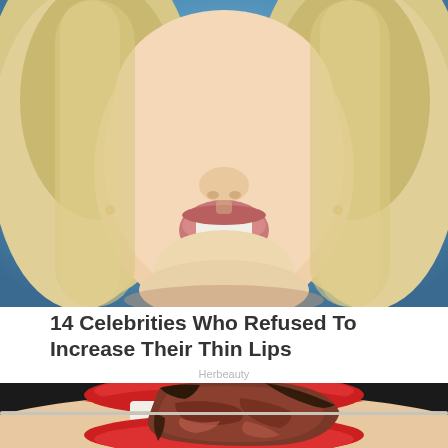[Figure (photo): Close-up photo of a blonde woman with mouth open, taken against a blue background. Cropped to show face from nose down through chin.]
14 Celebrities Who Refused To Increase Their Thin Lips
Herbeauty
[Figure (photo): Close-up photo of a woman with bright red lips and white teeth, biting onto a piece of grilled steak on a skewer/stick. The meat appears charred on the outside and red inside.]